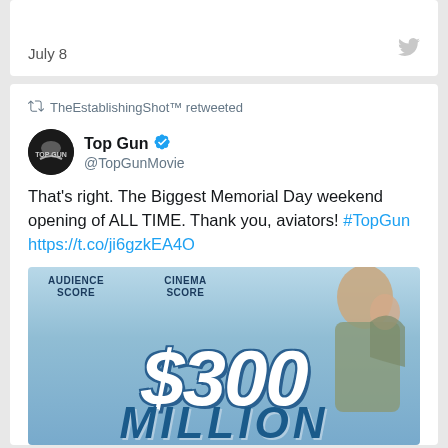July 8
TheEstablishingShot™ retweeted
Top Gun @TopGunMovie
That's right. The Biggest Memorial Day weekend opening of ALL TIME. Thank you, aviators! #TopGun https://t.co/ji6gzkEA4O
[Figure (photo): Top Gun Maverick movie promotional image showing $300 MILLION text with audience score and cinema score labels, and a person in a flight suit celebrating]